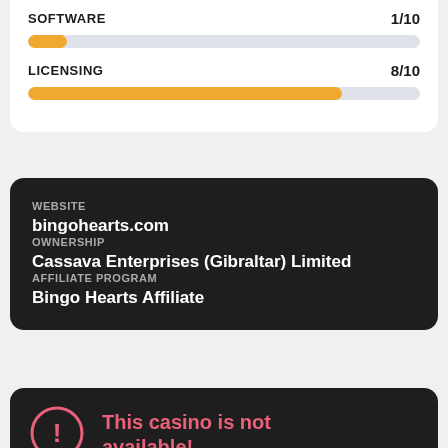SOFTWARE 1/10
[Figure (infographic): Progress bar showing SOFTWARE score 1/10 — orange fill at ~10% width]
LICENSING 8/10
[Figure (infographic): Progress bar showing LICENSING score 8/10 — orange fill at ~80% width]
WEBSITE
bingohearts.com
OWNERSHIP
Cassava Enterprises (Gibraltar) Limited
AFFILIATE PROGRAM
Bingo Hearts Affiliate
This casino is not available!